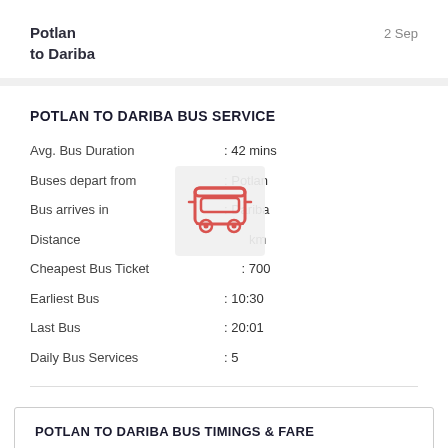Potlan to Dariba
2 Sep
POTLAN TO DARIBA BUS SERVICE
| Avg. Bus Duration | : 42 mins |
| Buses depart from | : Potlan |
| Bus arrives in | : Dariba |
| Distance | : km |
| Cheapest Bus Ticket | : 700 |
| Earliest Bus | : 10:30 |
| Last Bus | : 20:01 |
| Daily Bus Services | : 5 |
[Figure (illustration): Red bus icon overlaid on table]
POTLAN TO DARIBA BUS TIMINGS & FARE